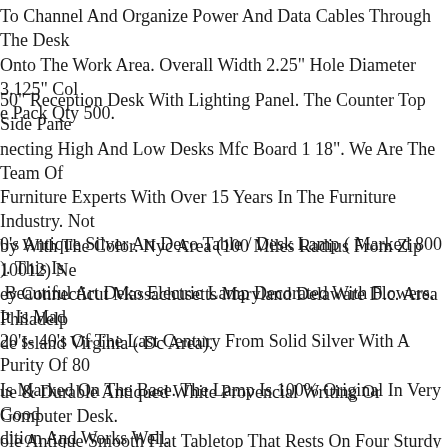To Channel And Organize Power And Data Cables Through The Desk Onto The Work Area. Overall Width 2.25" Hole Diameter 3.125" Color Pack Qty 500.
50" Reception Desk With Lighting Panel. The Counter Top Side Panel necting High And Low Desks Mfc Board 1 18". We Are The Team Of Furniture Experts With Over 15 Years In The Furniture Industry. Not by With The Color. Nyc Area (100 Miles Radius From Zip 10012) New ey Connecticut Massachusetts Maryland Delaware D.c. Area Philadelp de Island Virginia ( Dc Area).
0's Antique Silver Art Deco Table / Desk Lamp ( Marked 800 ). This Is Beautiful Art Deko Electric Lamp Decorated With Flowers. It Is Mad 20's- 40's Of The Last Century From Solid Silver With A Purity Of 80 Is Marked On The Base. The Lamp Is 100% Original In Very Good dition And Works Well.
ue & Durable Antiqued White Provencial Writing Or Computer Desk. ole Antique Smooth Flat Tabletop That Rests On Four Sturdy Tapered npet Legs. The Charming Desk Piece Was Made From High-quality